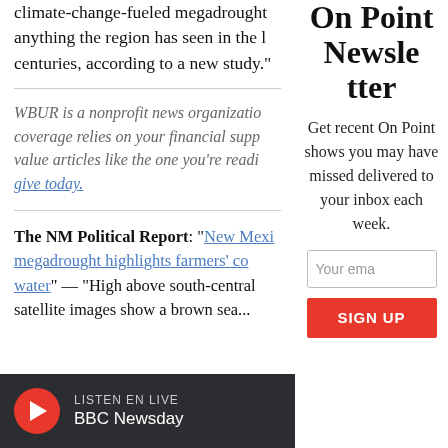climate-change-fueled megadrought anything the region has seen in the last centuries, according to a new study."
WBUR is a nonprofit news organization. Our coverage relies on your financial support. If you value articles like the one you're reading, please give today.
The NM Political Report: "New Mexico megadrought highlights farmers' concern about water" — "High above south-central satellite images show a brown sea...
On Point Newsletter
Get recent On Point shows you may have missed delivered to your inbox each week.
Your email
SIGN UP
LISTEN EN LIVE BBC Newsday